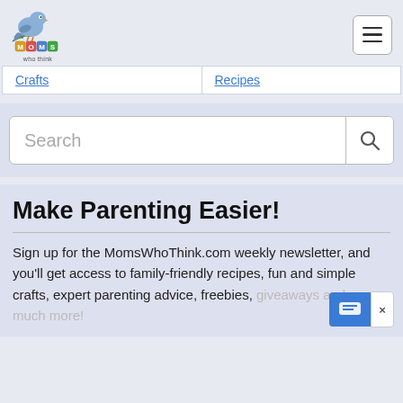[Figure (logo): MomsWhoThink.com logo with blue bird sitting on letter blocks spelling MOMS, with text 'who think' below]
Navigation menu hamburger button (three horizontal lines)
Crafts	Recipes
Search
Make Parenting Easier!
Sign up for the MomsWhoThink.com weekly newsletter, and you'll get access to family-friendly recipes, fun and simple crafts, expert parenting advice, freebies, giveaways and so much more!